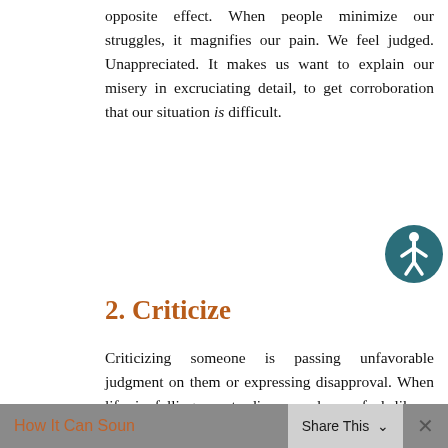opposite effect. When people minimize our struggles, it magnifies our pain. We feel judged. Unappreciated. It makes us want to explain our misery in excruciating detail, to get corroboration that our situation is difficult.
2. Criticize
Criticizing someone is passing unfavorable judgment on them or expressing disapproval. When life is falling apart, disapproval can feel like a dagger. Criticism wounds by implying the sufferer is not measuring up. Is somehow deficient. Is somehow unspiritual. Suffering friends need love and support, not condemnation. No one handles life perfectly; they don't need to be reminded of their perceived failures.
How It Can Soun  Share This  ×